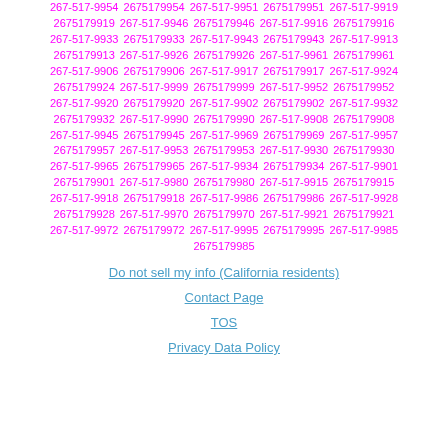267-517-9954 2675179954 267-517-9951 2675179951 267-517-9919 2675179919 267-517-9946 2675179946 267-517-9916 2675179916 267-517-9933 2675179933 267-517-9943 2675179943 267-517-9913 2675179913 267-517-9926 2675179926 267-517-9961 2675179961 267-517-9906 2675179906 267-517-9917 2675179917 267-517-9924 2675179924 267-517-9999 2675179999 267-517-9952 2675179952 267-517-9920 2675179920 267-517-9902 2675179902 267-517-9932 2675179932 267-517-9990 2675179990 267-517-9908 2675179908 267-517-9945 2675179945 267-517-9969 2675179969 267-517-9957 2675179957 267-517-9953 2675179953 267-517-9930 2675179930 267-517-9965 2675179965 267-517-9934 2675179934 267-517-9901 2675179901 267-517-9980 2675179980 267-517-9915 2675179915 267-517-9918 2675179918 267-517-9986 2675179986 267-517-9928 2675179928 267-517-9970 2675179970 267-517-9921 2675179921 267-517-9972 2675179972 267-517-9995 2675179995 267-517-9985 2675179985
Do not sell my info (California residents)
Contact Page
TOS
Privacy Data Policy